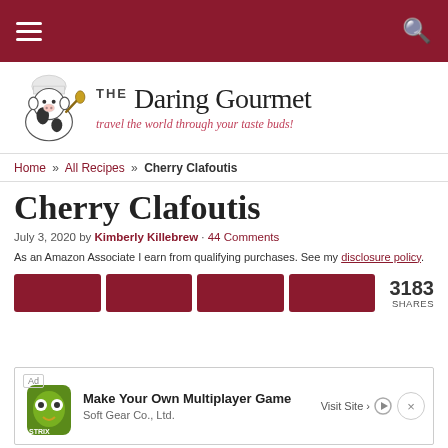The Daring Gourmet – travel the world through your taste buds!
[Figure (logo): The Daring Gourmet logo with cartoon cow chef holding a spoon and script text]
Home » All Recipes » Cherry Clafoutis
Cherry Clafoutis
July 3, 2020 by Kimberly Killebrew · 44 Comments
As an Amazon Associate I earn from qualifying purchases. See my disclosure policy.
[Figure (infographic): Share bar with 4 dark red share buttons and share count showing 3183 SHARES]
[Figure (screenshot): Ad banner: Ad | STRIX owl logo | Make Your Own Multiplayer Game | Soft Gear Co., Ltd. | Visit Site >]